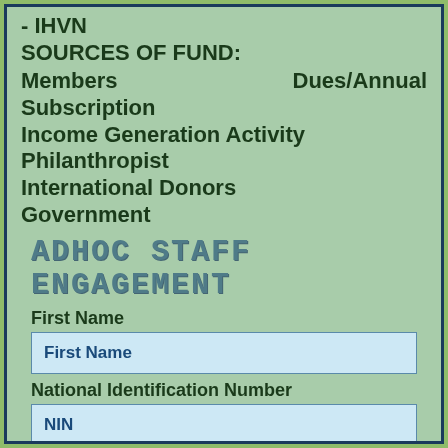- IHVN
SOURCES OF FUND:
Members    Dues/Annual Subscription
Income Generation Activity
Philanthropist
International Donors
Government
ADHOC STAFF ENGAGEMENT
First Name
First Name
National Identification Number
NIN